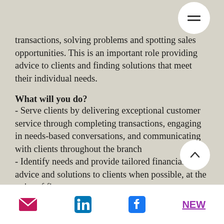transactions, solving problems and spotting sales opportunities. This is an important role providing advice to clients and finding solutions that meet their individual needs.
What will you do?
- Serve clients by delivering exceptional customer service through completing transactions, engaging in needs-based conversations, and communicating with clients throughout the branch
- Identify needs and provide tailored financial advice and solutions to clients when possible, at the point of first contact